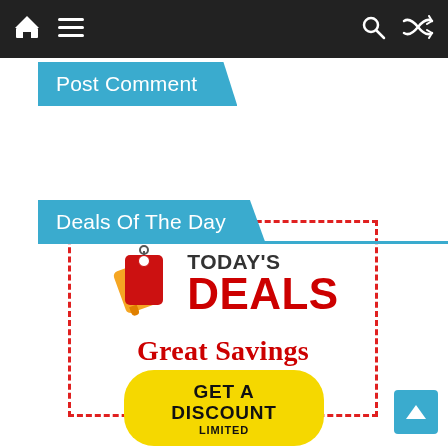Navigation bar with home, menu, search, and shuffle icons
Post Comment
Deals Of The Day
[Figure (infographic): Today's Deals advertisement box with dashed red border. Features price tag icons in red/orange, 'TODAY'S DEALS' text, 'Great Savings Every Day' tagline, and a yellow 'GET A DISCOUNT LIMITED' button.]